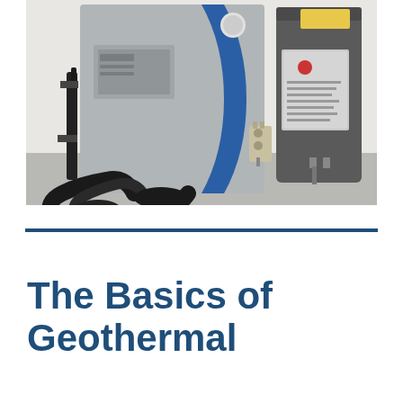[Figure (photo): Photograph of geothermal heat pump equipment installed indoors. A grey and blue heat pump unit is visible on the left, with large black flexible hoses/pipes running from the bottom of the unit. To the right is a cylindrical dark grey water heater tank. The equipment sits on a grey floor against a white wall.]
The Basics of Geothermal